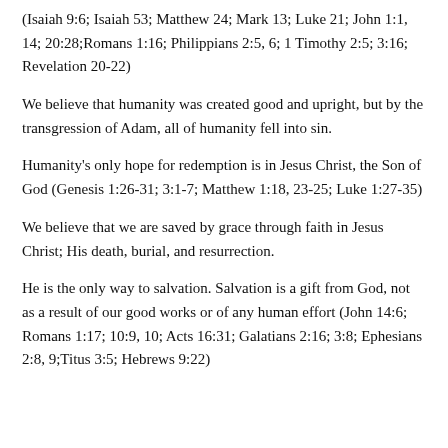(Isaiah 9:6; Isaiah 53; Matthew 24; Mark 13; Luke 21; John 1:1, 14; 20:28;Romans 1:16; Philippians 2:5, 6; 1 Timothy 2:5; 3:16; Revelation 20-22)
We believe that humanity was created good and upright, but by the transgression of Adam, all of humanity fell into sin.
Humanity's only hope for redemption is in Jesus Christ, the Son of God (Genesis 1:26-31; 3:1-7; Matthew 1:18, 23-25; Luke 1:27-35)
We believe that we are saved by grace through faith in Jesus Christ; His death, burial, and resurrection.
He is the only way to salvation. Salvation is a gift from God, not as a result of our good works or of any human effort (John 14:6; Romans 1:17; 10:9, 10; Acts 16:31; Galatians 2:16; 3:8; Ephesians 2:8, 9;Titus 3:5; Hebrews 9:22)